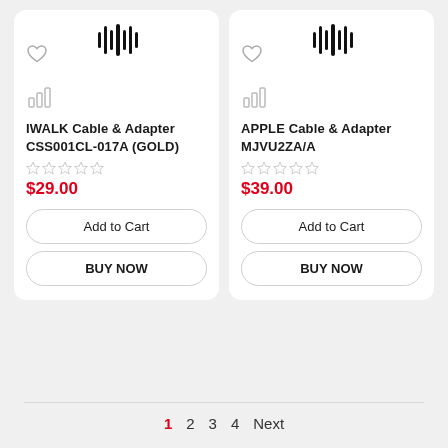[Figure (screenshot): Product card for IWALK Cable & Adapter CSS001CL-017A (GOLD) with barcode icon, heart icon, chart icon, star rating, price $29.00, Add to Cart button, BUY NOW button]
[Figure (screenshot): Product card for APPLE Cable & Adapter MJVU2ZA/A with barcode icon, heart icon, chart icon, star rating, price $39.00, Add to Cart button, BUY NOW button]
1  2  3  4  Next